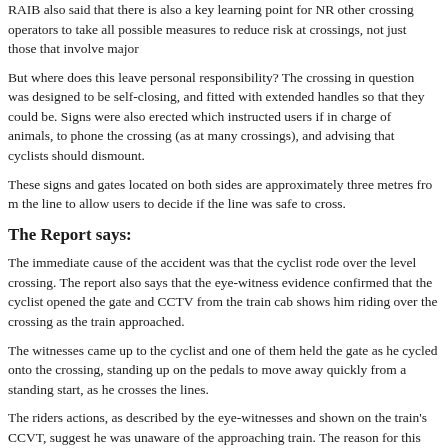RAIB also said that there is also a key learning point for NR other crossing operators to take all possible measures to reduce risk at crossings, not just those that involve major works.
But where does this leave personal responsibility? The crossing in question was designed to be self-closing, and fitted with extended handles so that they could be. Signs were also erected which instructed users if in charge of animals, to phone the crossing (as at many crossings), and advising that cyclists should dismount.
These signs and gates located on both sides are approximately three metres from the line to allow users to decide if the line was safe to cross.
The Report says:
The immediate cause of the accident was that the cyclist rode over the level crossing. The report also says that the eye-witness evidence confirmed that the cyclist opened the gate and CCTV from the train cab shows him riding over the crossing as the train approached.
The witnesses came up to the cyclist and one of them held the gate as he cycled onto the crossing, standing up on the pedals to move away quickly from a standing start, as he crosses the lines.
The riders actions, as described by the eye-witnesses and shown on the train's CCTV, suggest he was unaware of the approaching train. The reason for this was probably a combination of some or all of the following:
He was probably wearing earphones which may have prevented him from hearing the train. After passing the witnesses and turned towards the crossing, he appeared to use his left hand to remove his earphones.
After the accident, a pair of earphones, with music playing ‘loudly’ (witness description), was found nearby. The report says, is reported to have been in the habit of only using one earphone when cycling on the road. However, but he did not appear to react to the sound of the train’s horn, even when it was close.
Previous incidents